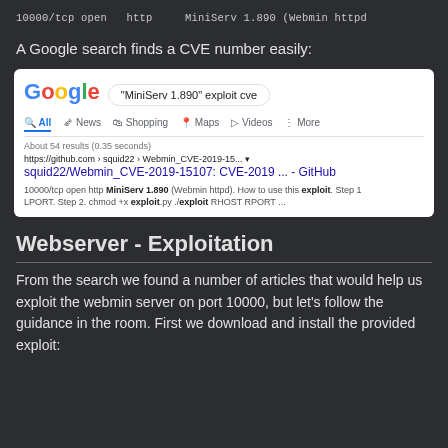10000/tcp open   http    MiniServ 1.890 (Webmin httpd
A Google search finds a CVE number easily:
[Figure (screenshot): Google search screenshot showing search for '"MiniServ 1.890" exploit cve' with result from github.com for squid22/Webmin_CVE-2019-15107 with snippet about exploiting MiniServ 1.890]
Webserver - Exploitation
From the search we found a number of articles that would help us exploit the webmin server on port 10000, but let's follow the guidance in the room. First we download and install the provided exploit: